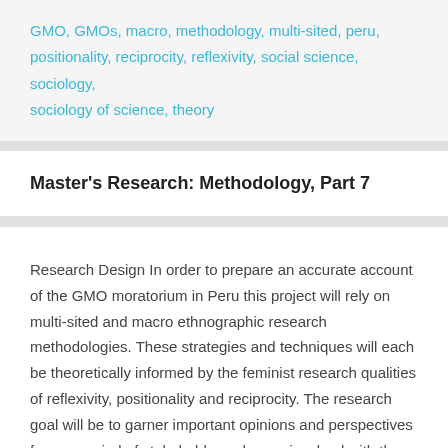GMO, GMOs, macro, methodology, multi-sited, peru, positionality, reciprocity, reflexivity, social science, sociology, sociology of science, theory
Master's Research: Methodology, Part 7
Research Design In order to prepare an accurate account of the GMO moratorium in Peru this project will rely on multi-sited and macro ethnographic research methodologies. These strategies and techniques will each be theoretically informed by the feminist research qualities of reflexivity, positionality and reciprocity. The research goal will be to garner important opinions and perspectives from a myriad of stakeholders who are involved with the moratorium on GMOs—such as farmers, scientists,… Read More